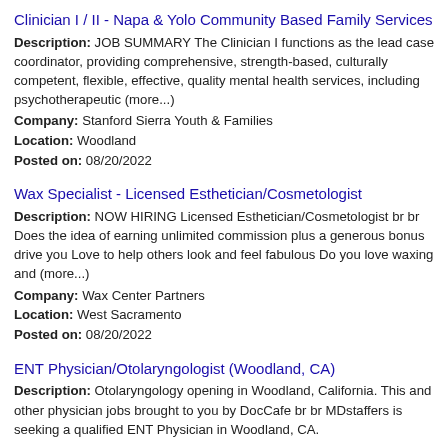Clinician I / II - Napa & Yolo Community Based Family Services
Description: JOB SUMMARY The Clinician I functions as the lead case coordinator, providing comprehensive, strength-based, culturally competent, flexible, effective, quality mental health services, including psychotherapeutic (more...)
Company: Stanford Sierra Youth & Families
Location: Woodland
Posted on: 08/20/2022
Wax Specialist - Licensed Esthetician/Cosmetologist
Description: NOW HIRING Licensed Esthetician/Cosmetologist br br Does the idea of earning unlimited commission plus a generous bonus drive you Love to help others look and feel fabulous Do you love waxing and (more...)
Company: Wax Center Partners
Location: West Sacramento
Posted on: 08/20/2022
ENT Physician/Otolaryngologist (Woodland, CA)
Description: Otolaryngology opening in Woodland, California. This and other physician jobs brought to you by DocCafe br br MDstaffers is seeking a qualified ENT Physician in Woodland, CA.